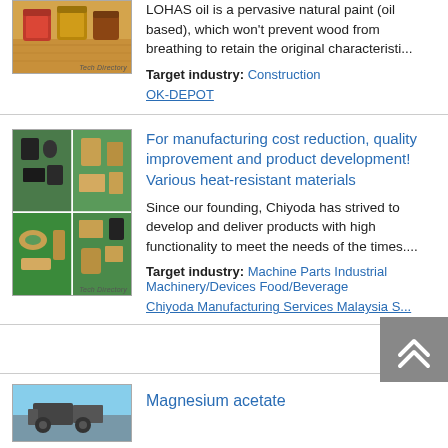[Figure (photo): Paint cans on wooden surface, with 'Tech Directory' watermark]
LOHAS oil is a pervasive natural paint (oil based), which won't prevent wood from breathing to retain the original characteristi...
Target industry: Construction
OK-DEPOT
[Figure (photo): Grid of heat-resistant rubber/plastic parts on green background, with 'Tech Directory' watermark]
For manufacturing cost reduction, quality improvement and product development! Various heat-resistant materials
Since our founding, Chiyoda has strived to develop and deliver products with high functionality to meet the needs of the times....
Target industry: Machine Parts Industrial Machinery/Devices Food/Beverage
Chiyoda Manufacturing Services Malaysia S...
[Figure (photo): Industrial machinery or equipment, blue sky background]
Magnesium acetate